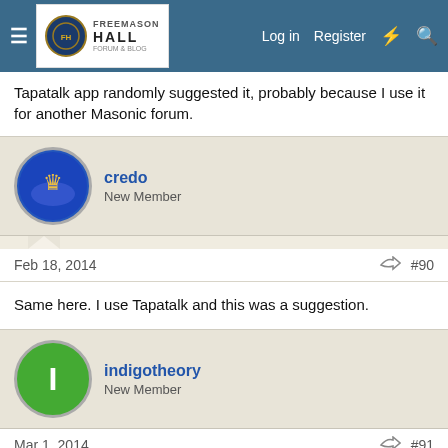Freemason Hall — Log in | Register
Tapatalk app randomly suggested it, probably because I use it for another Masonic forum.
credo
New Member
Feb 18, 2014  #90
Same here. I use Tapatalk and this was a suggestion.
indigotheory
New Member
Mar 1, 2014  #91
Tapatalk here 🙂
Bill_F...